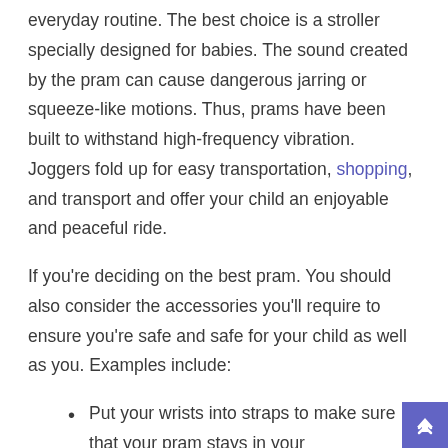everyday routine. The best choice is a stroller specially designed for babies. The sound created by the pram can cause dangerous jarring or squeeze-like motions. Thus, prams have been built to withstand high-frequency vibration. Joggers fold up for easy transportation, shopping, and transport and offer your child an enjoyable and peaceful ride.
If you're deciding on the best pram. You should also consider the accessories you'll require to ensure you're safe and safe for your child as well as you. Examples include:
Put your wrists into straps to make sure that your pram stays in your